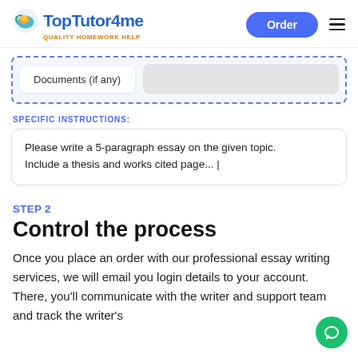TopTutor4me — QUALITY HOMEWORK HELP | Order
[Figure (screenshot): File upload area with 'Documents (if any)' tab and dashed blue border]
SPECIFIC INSTRUCTIONS:
Please write a 5-paragraph essay on the given topic. Include a thesis and works cited page... |
STEP 2
Control the process
Once you place an order with our professional essay writing services, we will email you login details to your account. There, you'll communicate with the writer and support team and track the writer's progress.